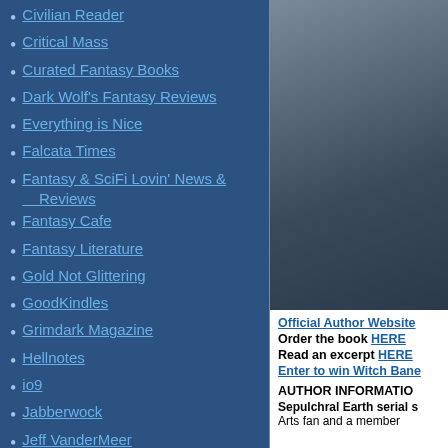Civilian Reader
Critical Mass
Curated Fantasy Books
Dark Wolf's Fantasy Reviews
Everything is Nice
Falcata Times
Fantasy & SciFi Lovin' News & Reviews
Fantasy Cafe
Fantasy Literature
Gold Not Glittering
GoodKindles
Grimdark Magazine
Hellnotes
io9
Jabberwock
Jeff VanderMeer
King of the Nerds
Layers of Thought
Lynn's Book Blog
Neth Space
Novel Notions
Omnivoracious
Only The Best Science Fiction & Fantasy
Pat's Fantasy Hotlist
[Figure (photo): Author photo on dark background]
Official Author Website
Order the book HERE
Read an excerpt HERE
Enter to win Witch Bane
AUTHOR INFORMATION
Sepulchral Earth serial s...
Arts fan and a member...